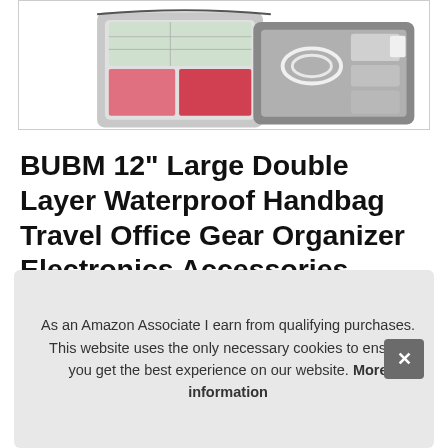[Figure (photo): Product photo of BUBM organizer bag open showing compartments with cables and accessories, photographed on white background]
BUBM 12" Large Double Layer Waterproof Handbag Travel Office Gear Organizer Electronics Accessories Gadget Big Bag For USB Cable, SD Card, Hard Drive, iPad XL
#ad
As an Amazon Associate I earn from qualifying purchases. This website uses the only necessary cookies to ensure you get the best experience on our website. More information